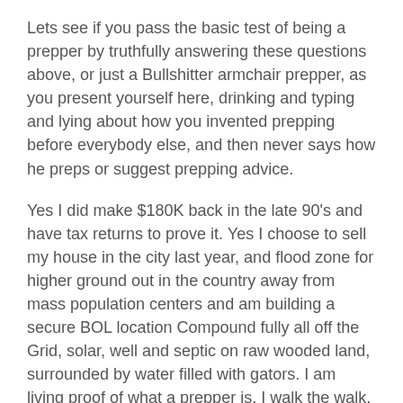Lets see if you pass the basic test of being a prepper by truthfully answering these questions above, or just a Bullshitter armchair prepper, as you present yourself here, drinking and typing and lying about how you invented prepping before everybody else, and then never says how he preps or suggest prepping advice.
Yes I did make $180K back in the late 90's and have tax returns to prove it. Yes I choose to sell my house in the city last year, and flood zone for higher ground out in the country away from mass population centers and am building a secure BOL location Compound fully all off the Grid, solar, well and septic on raw wooded land, surrounded by water filled with gators. I am living proof of what a prepper is, I walk the walk. I am doing what everybody should to and attain to do, as the smart move off the grid and not exposed to the beast.
So if you want to criticize me for living in a cottage, in the boonies, kiss my ass. You are not a prepper but a big BS'r. I have plenty of AR'15s and ammo to put up